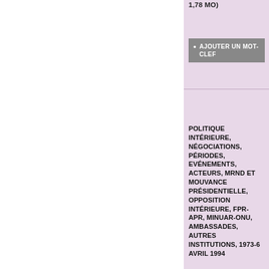1,78 MO)
AJOUTER UN MOT-CLEF
POLITIQUE INTÉRIEURE, NÉGOCIATIONS, PÉRIODES, EVÉNEMENTS, ACTEURS, MRND ET MOUVANCE PRÉSIDENTIELLE, OPPOSITION INTÉRIEURE, FPR-APR, MINUAR-ONU, AMBASSADES, AUTRES INSTITUTIONS, 1973-6 AVRIL 1994